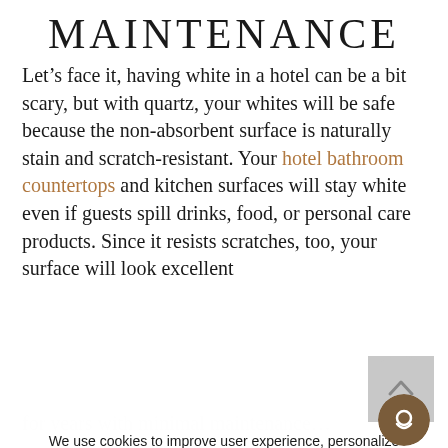MAINTENANCE
Let’s face it, having white in a hotel can be a bit scary, but with quartz, your whites will be safe because the non-absorbent surface is naturally stain and scratch-resistant. Your hotel bathroom countertops and kitchen surfaces will stay white even if guests spill drinks, food, or personal care products. Since it resists scratches, too, your surface will look excellent
We use cookies to improve user experience, personalize content, and analyze website traffic. For these reasons, we may share your site usage data with our analytics partners. By clicking “Accept,” you agree to our website’s cookie use as described in our Cookie Policy. You can change your cookie settings at any time by clicking “Preferences.”